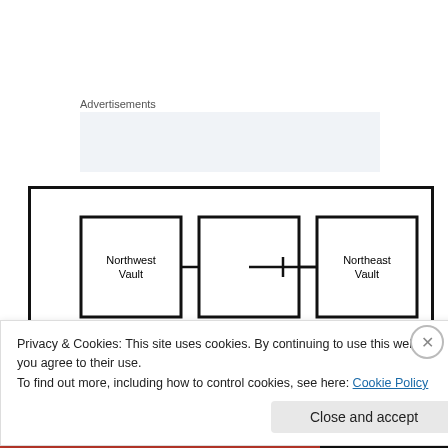Advertisements
[Figure (schematic): Floor plan schematic showing Northwest Vault, Northeast Vault, and Central Rear Passage and (truncated) connected by horizontal lines with a central vertical connector]
Privacy & Cookies: This site uses cookies. By continuing to use this website, you agree to their use.
To find out more, including how to control cookies, see here: Cookie Policy
Close and accept